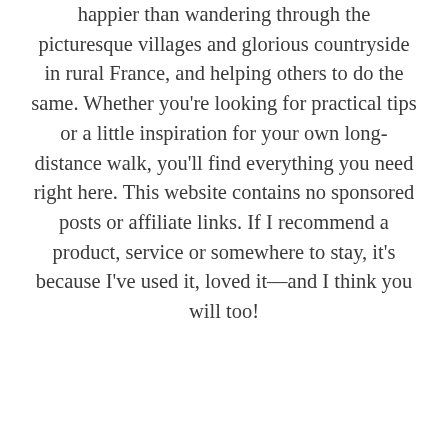happier than wandering through the picturesque villages and glorious countryside in rural France, and helping others to do the same. Whether you're looking for practical tips or a little inspiration for your own long-distance walk, you'll find everything you need right here. This website contains no sponsored posts or affiliate links. If I recommend a product, service or somewhere to stay, it's because I've used it, loved it—and I think you will too!